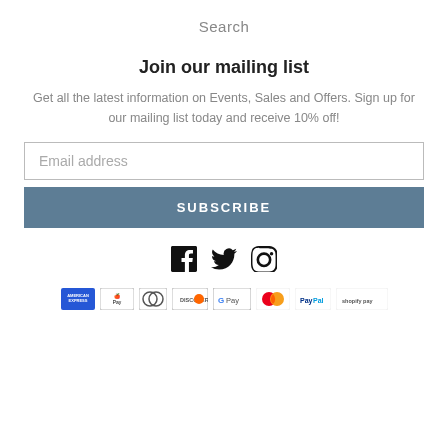Search
Join our mailing list
Get all the latest information on Events, Sales and Offers. Sign up for our mailing list today and receive 10% off!
Email address
SUBSCRIBE
[Figure (illustration): Social media icons: Facebook, Twitter, Instagram]
[Figure (illustration): Payment method icons: American Express, Apple Pay, Diners Club, Discover, Google Pay, Mastercard, PayPal, Shopify Pay]